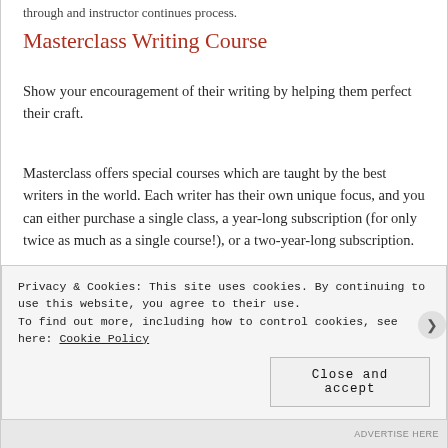through and instructor continues process.
Masterclass Writing Course
Show your encouragement of their writing by helping them perfect their craft.
Masterclass offers special courses which are taught by the best writers in the world. Each writer has their own unique focus, and you can either purchase a single class, a year-long subscription (for only twice as much as a single course!), or a two-year-long subscription.
Privacy & Cookies: This site uses cookies. By continuing to use this website, you agree to their use.
To find out more, including how to control cookies, see here: Cookie Policy
Close and accept